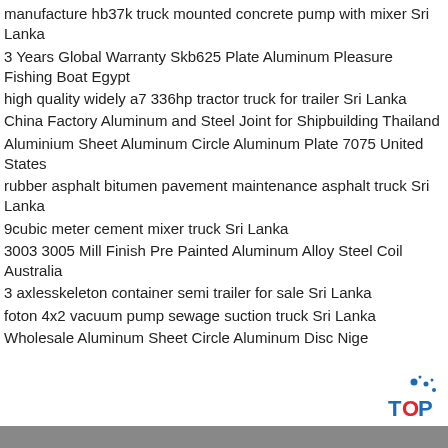manufacture hb37k truck mounted concrete pump with mixer Sri Lanka
3 Years Global Warranty Skb625 Plate Aluminum Pleasure Fishing Boat Egypt
high quality widely a7 336hp tractor truck for trailer Sri Lanka
China Factory Aluminum and Steel Joint for Shipbuilding Thailand
Aluminium Sheet Aluminum Circle Aluminum Plate 7075 United States
rubber asphalt bitumen pavement maintenance asphalt truck Sri Lanka
9cubic meter cement mixer truck Sri Lanka
3003 3005 Mill Finish Pre Painted Aluminum Alloy Steel Coil Australia
3 axlesskeleton container semi trailer for sale Sri Lanka
foton 4x2 vacuum pump sewage suction truck Sri Lanka
Wholesale Aluminum Sheet Circle Aluminum Disc Nigeria